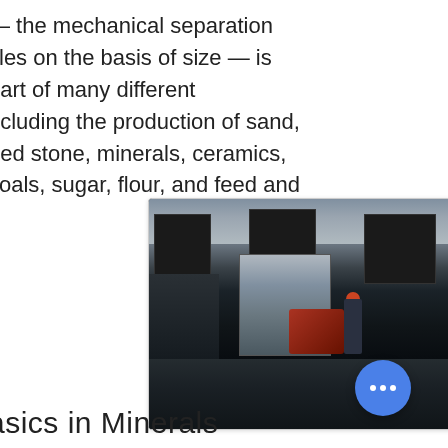— the mechanical separation of particles on the basis of size — is an integral part of many different industries including the production of sand, crushed stone, minerals, ceramics, coals, sugar, flour, and feed and
[Figure (photo): Industrial factory interior showing large black panel machinery, a gray control cabinet, a red machine component, a worker in red helmet, and floor-mounted equipment. AMC logo visible in lower right corner.]
asics in Minerals